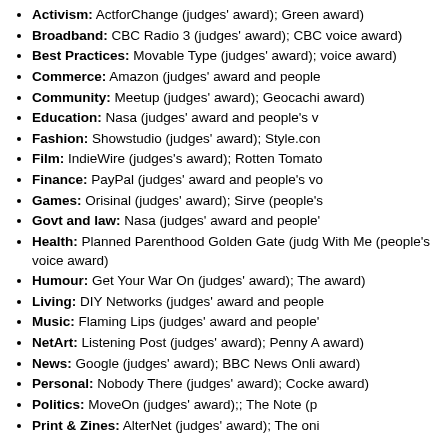Activism: ActforChange (judges' award); Green award)
Broadband: CBC Radio 3 (judges' award); CBC voice award)
Best Practices: Movable Type (judges' award); voice award)
Commerce: Amazon (judges' award and people's
Community: Meetup (judges' award); Geocachi award)
Education: Nasa (judges' award and people's v
Fashion: Showstudio (judges' award); Style.con
Film: IndieWire (judges's award); Rotten Tomato
Finance: PayPal (judges' award and people's vo
Games: Orisinal (judges' award); Sirve (people's
Govt and law: Nasa (judges' award and people'
Health: Planned Parenthood Golden Gate (judg With Me (people's voice award)
Humour: Get Your War On (judges' award); The award)
Living: DIY Networks (judges' award and people
Music: Flaming Lips (judges' award and people'
NetArt: Listening Post (judges' award); Penny A award)
News: Google (judges' award); BBC News Onli award)
Personal: Nobody There (judges' award); Cocke award)
Politics: MoveOn (judges' award);; The Note (p
Print & Zines: AlterNet (judges' award); The oni